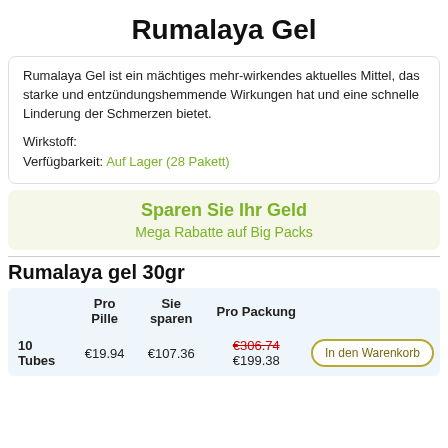Rumalaya Gel
Rumalaya Gel ist ein mächtiges mehr-wirkendes aktuelles Mittel, das starke und entzündungshemmende Wirkungen hat und eine schnelle Linderung der Schmerzen bietet.

Wirkstoff:
Verfügbarkeit: Auf Lager (28 Pakett)
Sparen Sie Ihr Geld
Mega Rabatte auf Big Packs
Rumalaya gel 30gr
|  | Pro Pille | Sie sparen | Pro Packung |  |
| --- | --- | --- | --- | --- |
| 10 Tubes | €19.94 | €107.36 | €306.74 €199.38 | In den Warenkorb |